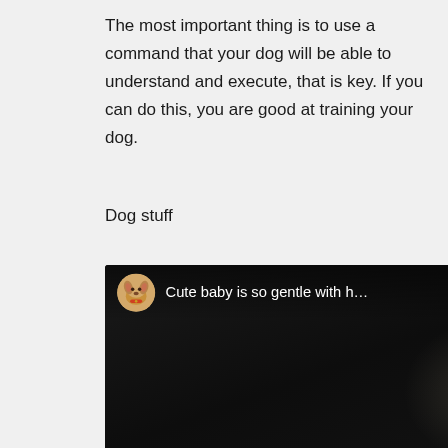The most important thing is to use a command that your dog will be able to understand and execute, that is key. If you can do this, you are good at training your dog.
Dog stuff
[Figure (screenshot): YouTube video thumbnail showing a dark indoor scene with a child and a dog. The video title reads 'Cute baby is so gentle with h...' with a YouTube play button in the center and a dog avatar icon in the top left.]